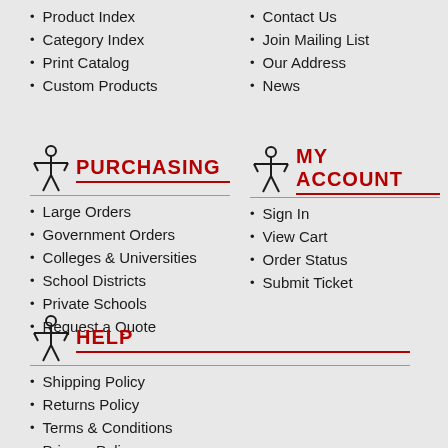Product Index
Category Index
Print Catalog
Custom Products
Contact Us
Join Mailing List
Our Address
News
PURCHASING
Large Orders
Government Orders
Colleges & Universities
School Districts
Private Schools
Request a Quote
MY ACCOUNT
Sign In
View Cart
Order Status
Submit Ticket
HELP
Shipping Policy
Returns Policy
Terms & Conditions
Privacy Policy
Need Help?
Ask A Question